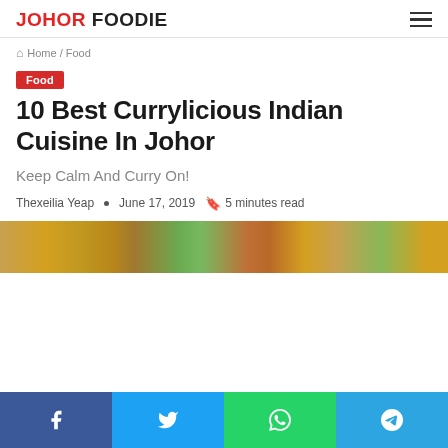JOHOR FOODIE
Home / Food
Food
10 Best Currylicious Indian Cuisine In Johor
Keep Calm And Curry On!
Thexeilia Yeap · June 17, 2019 · 5 minutes read
[Figure (photo): Colorful Indian food dishes photo strip]
Facebook, Twitter, WhatsApp, Telegram share buttons